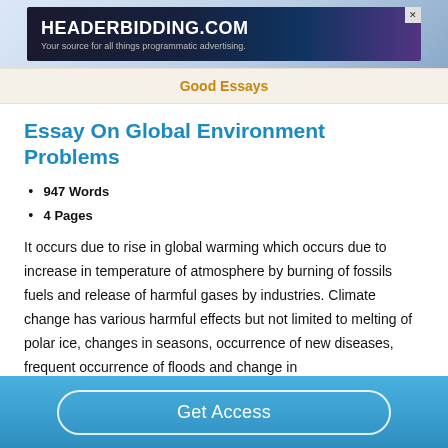[Figure (other): HeaderBidding.com advertisement banner with dark blue/purple gradient background. Text: HEADERBIDDING.COM, Your source for all things programmatic advertising.]
Good Essays
Essay On Global Environment Problems
947 Words
4 Pages
It occurs due to rise in global warming which occurs due to increase in temperature of atmosphere by burning of fossils fuels and release of harmful gases by industries. Climate change has various harmful effects but not limited to melting of polar ice, changes in seasons, occurrence of new diseases, frequent occurrence of floods and change in
Get Access